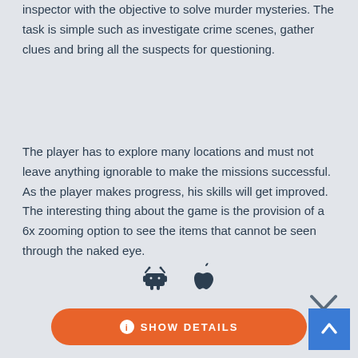inspector with the objective to solve murder mysteries. The task is simple such as investigate crime scenes, gather clues and bring all the suspects for questioning.
The player has to explore many locations and must not leave anything ignorable to make the missions successful. As the player makes progress, his skills will get improved. The interesting thing about the game is the provision of a 6x zooming option to see the items that cannot be seen through the naked eye.
[Figure (illustration): Chevron/down arrow icon in dark color]
[Figure (illustration): Android robot icon and Apple logo icon side by side]
[Figure (illustration): Orange rounded button labeled SHOW DETAILS with info icon, and a blue square back-to-top button with up arrow]